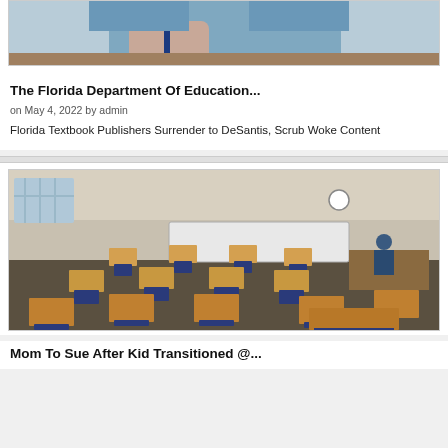[Figure (photo): Partial view of a person holding a pen, wearing a denim shirt — cropped top portion of an article image]
The Florida Department Of Education...
on May 4, 2022 by admin
Florida Textbook Publishers Surrender to DeSantis, Scrub Woke Content
[Figure (photo): Empty classroom with rows of wooden student desks with blue chairs, whiteboard at front, teacher at desk in background]
Mom To Sue After Kid Transitioned @...